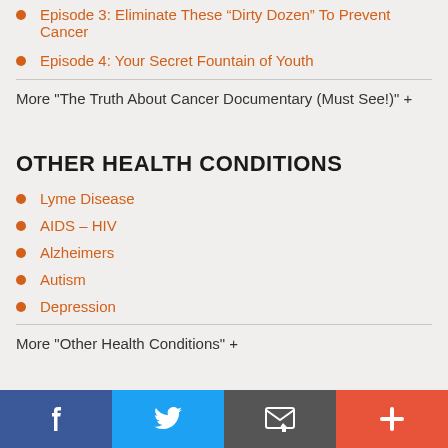Episode 3: Eliminate These “Dirty Dozen” To Prevent Cancer
Episode 4: Your Secret Fountain of Youth
More "The Truth About Cancer Documentary (Must See!)" +
OTHER HEALTH CONDITIONS
Lyme Disease
AIDS – HIV
Alzheimers
Autism
Depression
More "Other Health Conditions" +
KEY LINKS
[Figure (infographic): Social media sharing bar with Facebook, Twitter, Email, and plus buttons]